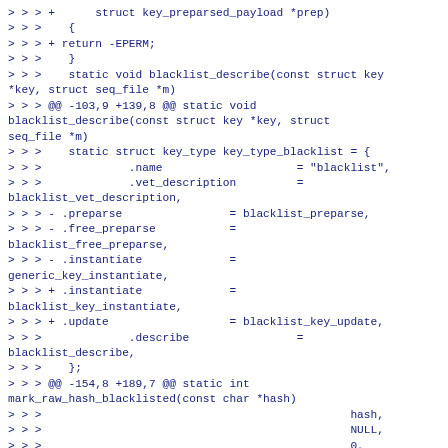>>> +      struct key_preparsed_payload *prep)
>>>    {
>>> + return -EPERM;
>>>    }
>>>    static void blacklist_describe(const struct key *key, struct seq_file *m)
>>> @@ -103,9 +139,8 @@ static void blacklist_describe(const struct key *key, struct seq_file *m)
>>>    static struct key_type key_type_blacklist = {
>>>             .name                    = "blacklist",
>>>             .vet_description         =
blacklist_vet_description,
>>> - .preparse                = blacklist_preparse,
>>> - .free_preparse           =
blacklist_free_preparse,
>>> - .instantiate             =
generic_key_instantiate,
>>> + .instantiate             =
blacklist_key_instantiate,
>>> + .update                  = blacklist_key_update,
>>>             .describe                =
blacklist_describe,
>>>    };
>>> @@ -154,8 +189,7 @@ static int mark_raw_hash_blacklisted(const char *hash)
>>>                                              hash,
>>>                                              NULL,
>>>                                              0,
>>> -                                            ((KEY_POS_ALL &